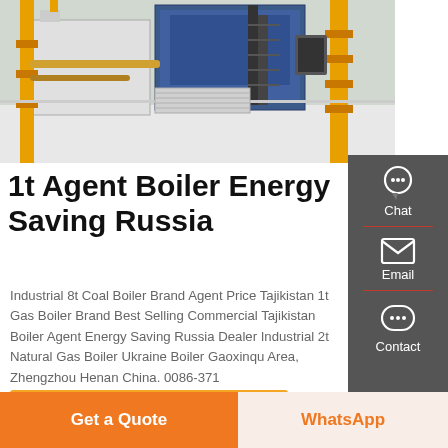[Figure (photo): Industrial boiler room with yellow pipes, metal staircases, and large industrial boiler units on white floor]
1t Agent Boiler Energy Saving Russia
Industrial 8t Coal Boiler Brand Agent Price Tajikistan 1t Gas Boiler Brand Best Selling Commercial Tajikistan Boiler Agent Energy Saving Russia Dealer Industrial 2t Natural Gas Boiler Ukraine Boiler Gaoxinqu Area, Zhengzhou Henan China. 0086-371
[Figure (infographic): Side panel with Chat, Email, and Contact buttons on dark grey background]
Get A Quote
Get a Quote
WhatsApp